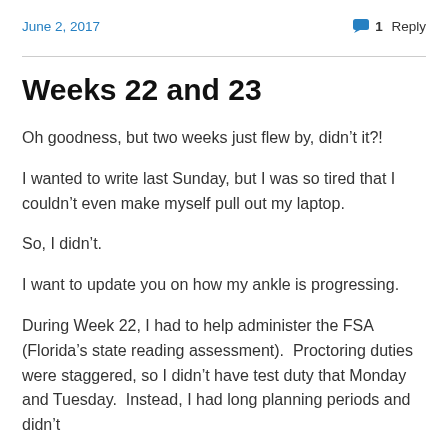June 2, 2017    1 Reply
Weeks 22 and 23
Oh goodness, but two weeks just flew by, didn't it?!
I wanted to write last Sunday, but I was so tired that I couldn't even make myself pull out my laptop.
So, I didn't.
I want to update you on how my ankle is progressing.
During Week 22, I had to help administer the FSA (Florida's state reading assessment).  Proctoring duties were staggered, so I didn't have test duty that Monday and Tuesday.  Instead, I had long planning periods and didn't